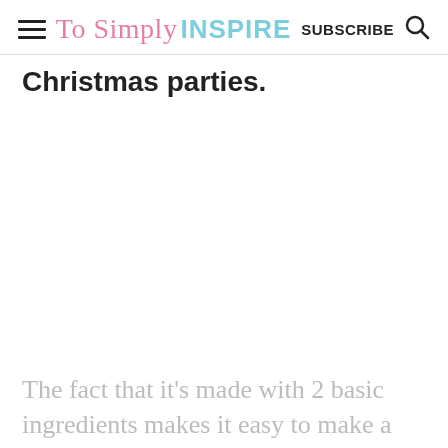To Simply INSPIRE   SUBSCRIBE
Christmas parties.
The fact that it's made with 2 basic ingredients makes it easy to make a